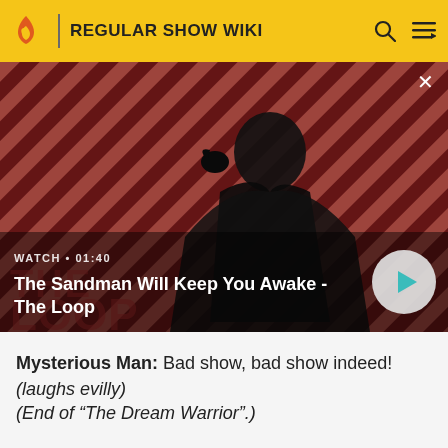REGULAR SHOW WIKI
[Figure (screenshot): Video thumbnail showing a dark-clad man with a bird on his shoulder against a red and dark diagonal striped background. Text overlay: WATCH • 01:40 / The Sandman Will Keep You Awake - The Loop. A circular play button is in the bottom right.]
Mysterious Man: Bad show, bad show indeed! (laughs evilly)
(End of "The Dream Warrior".)